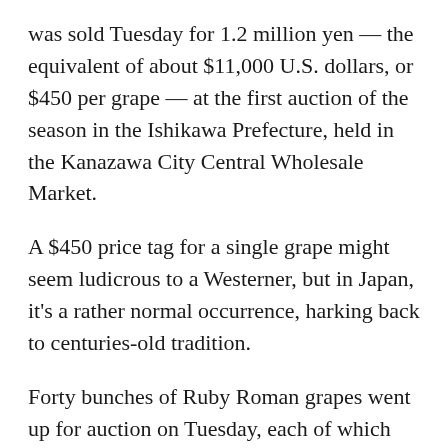was sold Tuesday for 1.2 million yen — the equivalent of about $11,000 U.S. dollars, or $450 per grape — at the first auction of the season in the Ishikawa Prefecture, held in the Kanazawa City Central Wholesale Market.
A $450 price tag for a single grape might seem ludicrous to a Westerner, but in Japan, it's a rather normal occurrence, harking back to centuries-old tradition.
Forty bunches of Ruby Roman grapes went up for auction on Tuesday, each of which had to meet very strict requirements for sugar content and size.
The Ruby Roman strain was first introduced to the market 12 years ago after 14 years of cultivation by the